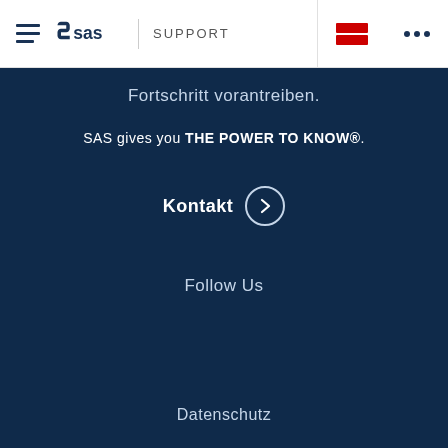SAS SUPPORT
Fortschritt vorantreiben.
SAS gives you THE POWER TO KNOW®.
Kontakt
Follow Us
Datenschutz